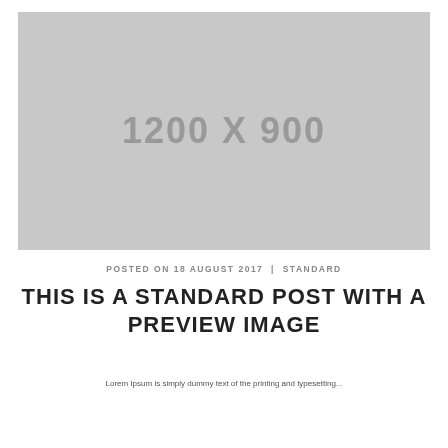[Figure (other): Gray placeholder image with dimensions label '1200 X 900']
POSTED ON 18 AUGUST 2017  |  STANDARD
THIS IS A STANDARD POST WITH A PREVIEW IMAGE
Lorem Ipsum is simply dummy text of the printing and typesetting...